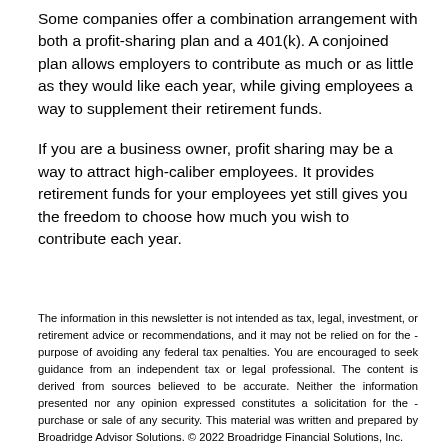Some companies offer a combination arrangement with both a profit-sharing plan and a 401(k). A conjoined plan allows employers to contribute as much or as little as they would like each year, while giving employees a way to supplement their retirement funds.
If you are a business owner, profit sharing may be a way to attract high-caliber employees. It provides retirement funds for your employees yet still gives you the freedom to choose how much you wish to contribute each year.
The information in this newsletter is not intended as tax, legal, investment, or retirement advice or recommendations, and it may not be relied on for the - purpose of avoiding any federal tax penalties. You are encouraged to seek guidance from an independent tax or legal professional. The content is derived from sources believed to be accurate. Neither the information presented nor any opinion expressed constitutes a solicitation for the - purchase or sale of any security. This material was written and prepared by Broadridge Advisor Solutions. © 2022 Broadridge Financial Solutions, Inc.